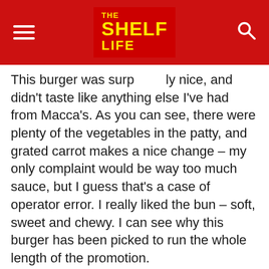THE SHELF LIFE
This burger was surp[rising]ly nice, and didn't taste like anything else I've had from Macca's. As you can see, there were plenty of the vegetables in the patty, and grated carrot makes a nice change – my only complaint would be way too much sauce, but I guess that's a case of operator error. I really liked the bun – soft, sweet and chewy. I can see why this burger has been picked to run the whole length of the promotion.